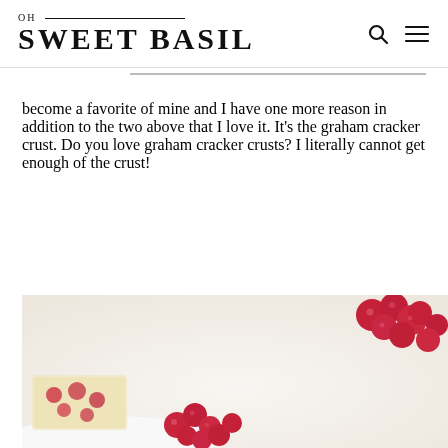OH SWEET BASIL
become a favorite of mine and I have one more reason in addition to the two above that I love it. It's the graham cracker crust. Do you love graham cracker crusts? I literally cannot get enough of the crust!
[Figure (photo): Photo of cheesecake bars on a white plate garnished with fresh red raspberries, with additional raspberries scattered around on a white surface]